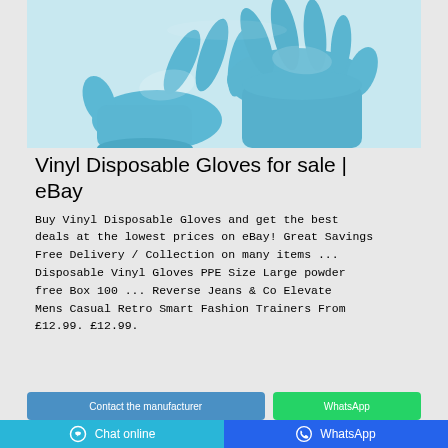[Figure (photo): Two hands wearing blue vinyl/nitrile disposable gloves against a light background, shown from wrist up]
Vinyl Disposable Gloves for sale | eBay
Buy Vinyl Disposable Gloves and get the best deals at the lowest prices on eBay! Great Savings Free Delivery / Collection on many items ... Disposable Vinyl Gloves PPE Size Large powder free Box 100 ... Reverse Jeans & Co Elevate Mens Casual Retro Smart Fashion Trainers From £12.99. £12.99.
Chat online | WhatsApp